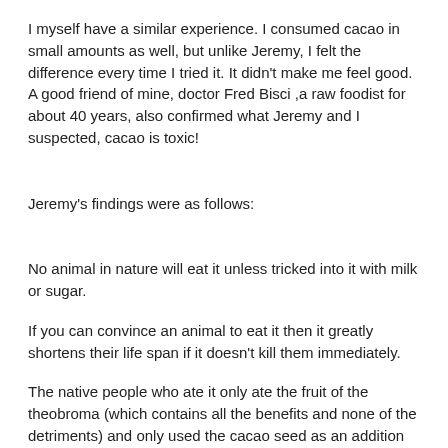I myself have a similar experience. I consumed cacao in small amounts as well, but unlike Jeremy, I felt the difference every time I tried it. It didn't make me feel good. A good friend of mine, doctor Fred Bisci ,a raw foodist for about 40 years, also confirmed what Jeremy and I suspected, cacao is toxic!
Jeremy's findings were as follows:
No animal in nature will eat it unless tricked into it with milk or sugar.
If you can convince an animal to eat it then it greatly shortens their life span if it doesn't kill them immediately.
The native people who ate it only ate the fruit of the theobroma (which contains all the benefits and none of the detriments) and only used the cacao seed as an addition to their psychedelic brew ahyuwasca and as a medicine in emergencies.
Native people did not eat it as a food nor as a supplement, only